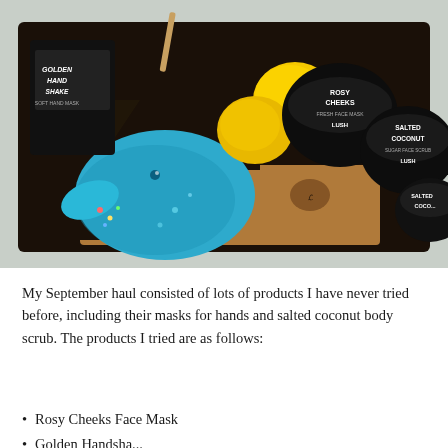[Figure (photo): A flat-lay photo on a white bedsheet background showing various Lush cosmetics products including a blue bird/penguin-shaped bath bomb, two yellow bath bombs, a black box labeled 'Golden Handshake' soft hand mask, two black circular containers labeled 'Rosy Cheeks' and 'Salted Coconut' face/body scrub from Lush, and a brown paper bag with a dark gift bag, all arranged on a dark surface.]
My September haul consisted of lots of products I have never tried before, including their masks for hands and salted coconut body scrub. The products I tried are as follows:
Rosy Cheeks Face Mask
Golden Handshake (hand mask)